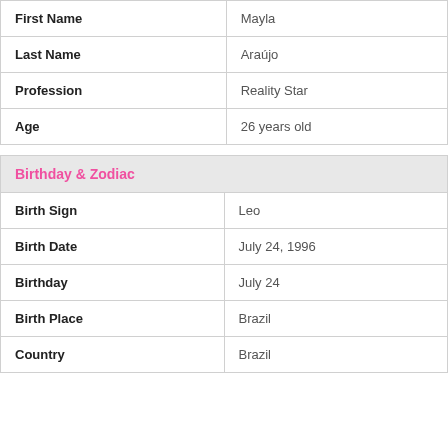| Field | Value |
| --- | --- |
| First Name | Mayla |
| Last Name | Araújo |
| Profession | Reality Star |
| Age | 26 years old |
| Birthday & Zodiac |  |
| --- | --- |
| Birth Sign | Leo |
| Birth Date | July 24, 1996 |
| Birthday | July 24 |
| Birth Place | Brazil |
| Country | Brazil |